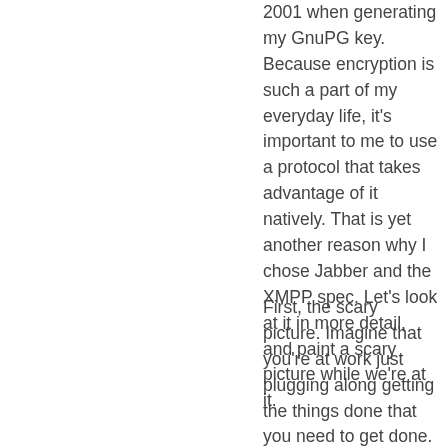2001 when generating my GnuPG key. Because encryption is such a part of my everyday life, it's important to me to use a protocol that takes advantage of it natively. That is yet another reason why I chose Jabber and the XMPP spec. Let's look at it in more detail, and paint a scary picture while we're at it.
First, the scary picture. Imagine that you're at work just plugging along getting the things done that you need to get done. At work, you have to use ICO